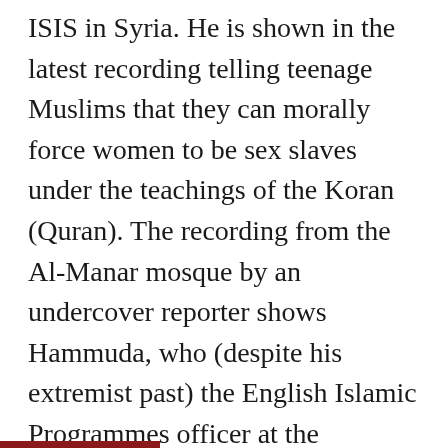ISIS in Syria. He is shown in the latest recording telling teenage Muslims that they can morally force women to be sex slaves under the teachings of the Koran (Quran). The recording from the Al-Manar mosque by an undercover reporter shows Hammuda, who (despite his extremist past) the English Islamic Programmes officer at the mosque, explains the Hadiths, or sayings of Mohammed.